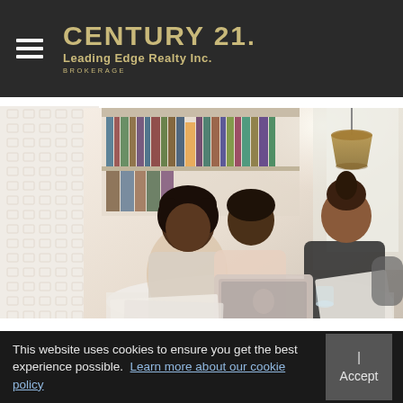CENTURY 21. Leading Edge Realty Inc. BROKERAGE
[Figure (photo): Three people (two clients and a real estate agent) sitting at a round white table with a laptop and documents, in a bright office with bookshelves in the background. A decorative pattern strip is visible on the left side.]
This website uses cookies to ensure you get the best experience possible.  Learn more about our cookie policy  |  Accept